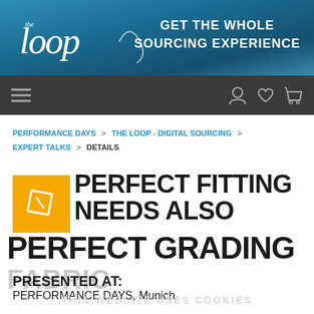[Figure (logo): The Loop logo on teal/blue gradient header banner with text GET THE WHOLE SOURCING EXPERIENCE]
GET THE WHOLE SOURCING EXPERIENCE
PERFORMANCE DAYS > THE LOOP - DIGITAL SOURCING > EXPERT TALKS > DETAILS
PERFECT FITTING NEEDS ALSO PERFECT GRADING
FABRIC
PRESENTED AT:
PERFORMANCE DAYS, Munich
THIS WEBSITE USES COOKIES